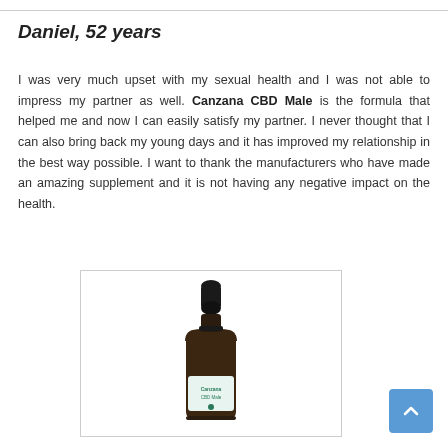Daniel, 52 years
I was very much upset with my sexual health and I was not able to impress my partner as well. Canzana CBD Male is the formula that helped me and now I can easily satisfy my partner. I never thought that I can also bring back my young days and it has improved my relationship in the best way possible. I want to thank the manufacturers who have made an amazing supplement and it is not having any negative impact on the health.
[Figure (photo): A dark brown glass dropper bottle with a black dropper cap, containing a liquid supplement product with a label reading 'Canzana CBD Male'. The bottle is shown inside a light-bordered rectangular frame on a white background.]